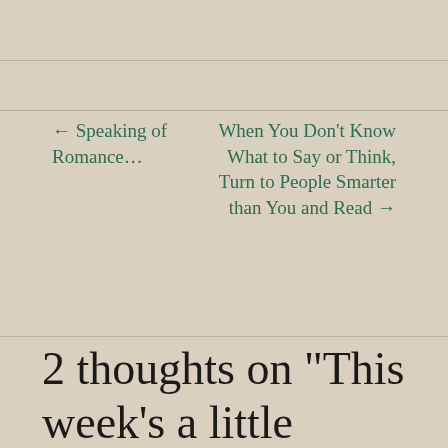← Speaking of Romance…
When You Don't Know What to Say or Think, Turn to People Smarter than You and Read →
2 thoughts on “This week’s a little serious, but not without a hope.